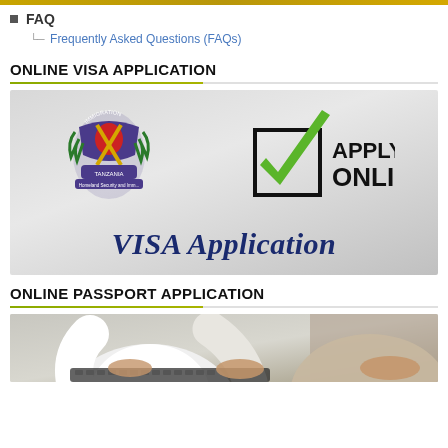FAQ
Frequently Asked Questions (FAQs)
ONLINE VISA APPLICATION
[Figure (illustration): Tanzania Immigration Department banner showing coat of arms on the left, a checkbox with green checkmark, 'APPLY ONLINE' text on the right, and 'VISA Application' in large navy blue text at the bottom.]
ONLINE PASSPORT APPLICATION
[Figure (photo): Person in white shirt typing on a laptop keyboard, hands visible on keyboard.]